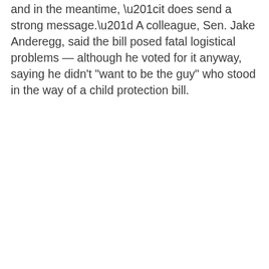and in the meantime, “it does send a strong message.” A colleague, Sen. Jake Anderegg, said the bill posed fatal logistical problems — although he voted for it anyway, saying he didn’t “want to be the guy” who stood in the way of a child protection bill.